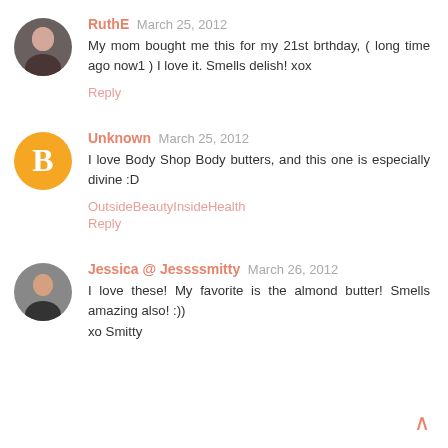RuthE March 25, 2012
My mom bought me this for my 21st brthday, ( long time ago now1 ) I love it. Smells delish! xox
Reply
Unknown March 25, 2012
I love Body Shop Body butters, and this one is especially divine :D
OutsideBeautyInsideHealth
Reply
Jessica @ Jessssmitty March 26, 2012
I love these! My favorite is the almond butter! Smells amazing also! :))
xo Smitty